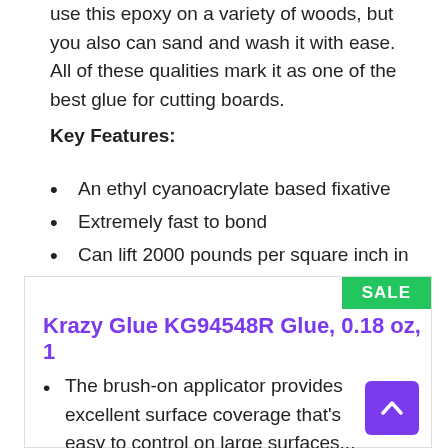use this epoxy on a variety of woods, but you also can sand and wash it with ease. All of these qualities mark it as one of the best glue for cutting boards.
Key Features:
An ethyl cyanoacrylate based fixative
Extremely fast to bond
Can lift 2000 pounds per square inch in its pure form
Clear in color
Water and heat resistant
Krazy Glue KG94548R Glue, 0.18 oz, 1
The brush-on applicator provides excellent surface coverage that's easy to control on large surfaces...